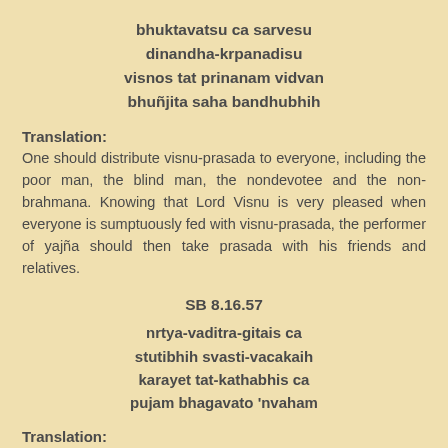bhuktavatsu ca sarvesu
dinandha-krpanadisu
visnos tat prinanam vidvan
bhuñjita saha bandhubhih
Translation:
One should distribute visnu-prasada to everyone, including the poor man, the blind man, the nondevotee and the non-brahmana. Knowing that Lord Visnu is very pleased when everyone is sumptuously fed with visnu-prasada, the performer of yajña should then take prasada with his friends and relatives.
SB 8.16.57
nrtya-vaditra-gitais ca
stutibhih svasti-vacakaih
karayet tat-kathabhis ca
pujam bhagavato 'nvaham
Translation:
Every day from pratipat to trayodasi, one should continue the ceremony, to the accompaniment of dancing, singing, the